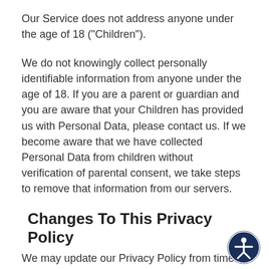Our Service does not address anyone under the age of 18 ("Children").
We do not knowingly collect personally identifiable information from anyone under the age of 18. If you are a parent or guardian and you are aware that your Children has provided us with Personal Data, please contact us. If we become aware that we have collected Personal Data from children without verification of parental consent, we take steps to remove that information from our servers.
Changes To This Privacy Policy
We may update our Privacy Policy from time to time. We will notify you of any changes by posting the new Privacy Policy on this page.
We will let you know via email and/or a prominent notice on our Service, prior to the change becoming effective